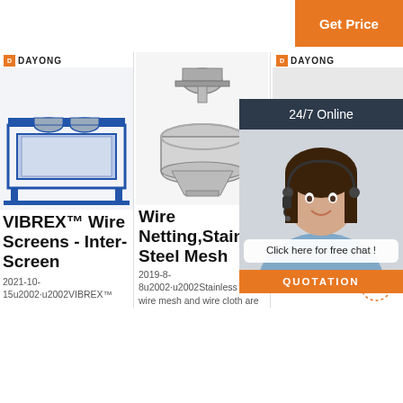[Figure (other): Orange 'Get Price' button in top right corner]
[Figure (photo): DAYONG logo with industrial blue wire screen machine photo - product 1]
[Figure (photo): Industrial vibrating sieve machine - product 2, stainless steel]
[Figure (photo): DAYONG logo with partial product image - product 3, with 24/7 Online chat agent overlay]
VIBREX™ Wire Screens - Inter-Screen
2021-10-15u2002·u2002VIBREX™
Wire Netting,Stainless Steel Mesh
2019-8-8u2002·u2002Stainless steel wire mesh and wire cloth are extensively used in
Anping Metal Wire Mesh Co., Ltd.
2018-4-15u2002·u2002Located
[Figure (other): Chat overlay with 24/7 Online header, female agent photo, 'Click here for free chat!' bubble, and QUOTATION orange button]
[Figure (other): TOP badge in orange with dot circle decoration]